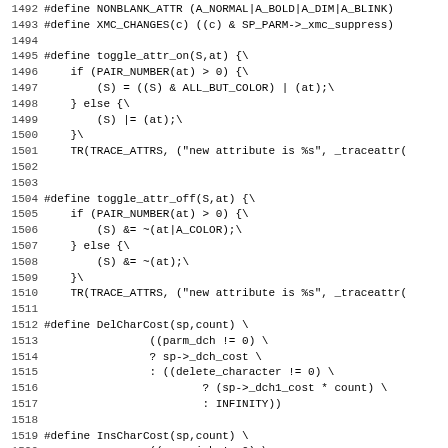Code listing lines 1492-1523, C preprocessor macros including NONBLANK_ATTR, XMC_CHANGES, toggle_attr_on, toggle_attr_off, DelCharCost, InsCharCost
1492 #define NONBLANK_ATTR (A_NORMAL|A_BOLD|A_DIM|A_BLINK)
1493 #define XMC_CHANGES(c) ((c) & SP_PARM->_xmc_suppress)
1494
1495 #define toggle_attr_on(S,at) {\
1496     if (PAIR_NUMBER(at) > 0) {\
1497         (S) = ((S) & ALL_BUT_COLOR) | (at);\
1498     } else {\
1499         (S) |= (at);\
1500     }\
1501     TR(TRACE_ATTRS, ("new attribute is %s", _traceattr(
1502
1503
1504 #define toggle_attr_off(S,at) {\
1505     if (PAIR_NUMBER(at) > 0) {\
1506         (S) &= ~(at|A_COLOR);\
1507     } else {\
1508         (S) &= ~(at);\
1509     }\
1510     TR(TRACE_ATTRS, ("new attribute is %s", _traceattr(
1511
1512 #define DelCharCost(sp,count) \
1513                 ((parm_dch != 0) \
1514                 ? sp->_dch_cost \
1515                 : ((delete_character != 0) \
1516                         ? (sp->_dch1_cost * count) \
1517                         : INFINITY))
1518
1519 #define InsCharCost(sp,count) \
1520                 ((parm_ich != 0) \
1521                 ? sp->_ich_cost \
1522                 : ((enter_insert_mode && exit_insert_mo
1523                 ? sp-> smir_cost + sp-> rmir_cost +